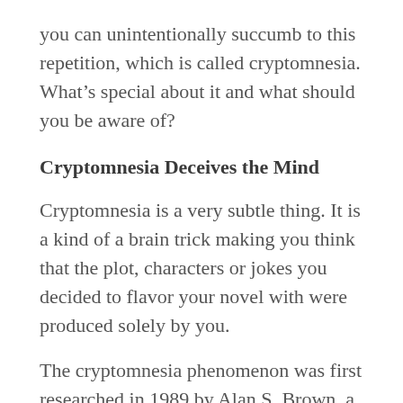you can unintentionally succumb to this repetition, which is called cryptomnesia. What’s special about it and what should you be aware of?
Cryptomnesia Deceives the Mind
Cryptomnesia is a very subtle thing. It is a kind of a brain trick making you think that the plot, characters or jokes you decided to flavor your novel with were produced solely by you.
The cryptomnesia phenomenon was first researched in 1989 by Alan S. Brown, a University of Georgia Psychologist and PhD who carried out a number of interesting